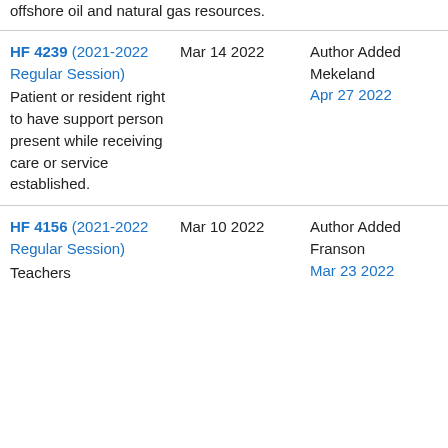offshore oil and natural gas resources.
| Bill | Date | Action |
| --- | --- | --- |
| HF 4239 (2021-2022 Regular Session)
Patient or resident right to have support person present while receiving care or service established. | Mar 14 2022 | Author Added Mekeland
Apr 27 2022 |
| HF 4156 (2021-2022 Regular Session)
Teachers | Mar 10 2022 | Author Added Franson
Mar 23 2022 |